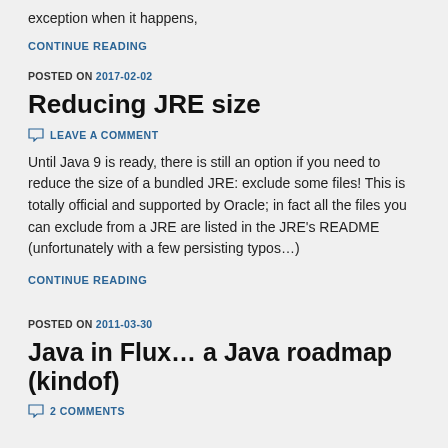exception when it happens,
CONTINUE READING
POSTED ON 2017-02-02
Reducing JRE size
LEAVE A COMMENT
Until Java 9 is ready, there is still an option if you need to reduce the size of a bundled JRE: exclude some files! This is totally official and supported by Oracle; in fact all the files you can exclude from a JRE are listed in the JRE's README (unfortunately with a few persisting typos…)
CONTINUE READING
POSTED ON 2011-03-30
Java in Flux… a Java roadmap (kindof)
2 COMMENTS